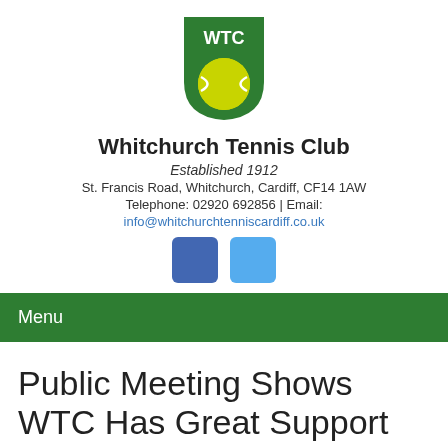[Figure (logo): WTC shield logo — dark green shield with white WTC text at top and yellow tennis ball in center]
Whitchurch Tennis Club
Established 1912
St. Francis Road, Whitchurch, Cardiff, CF14 1AW
Telephone: 02920 692856 | Email:
info@whitchurchtenniscardiff.co.uk
[Figure (illustration): Facebook and Twitter social media icon buttons — two rounded square icons, dark blue and light blue]
Menu
Public Meeting Shows WTC Has Great Support
Posted on 17/11/2018